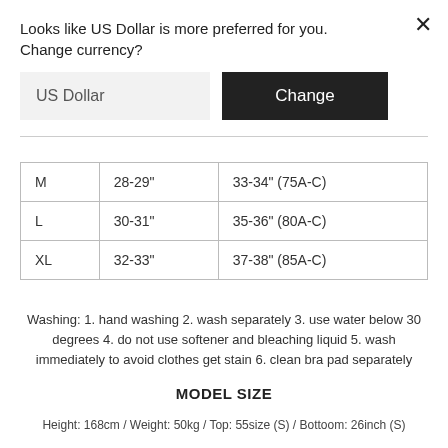Looks like US Dollar is more preferred for you. Change currency?
US Dollar
Change
| M | 28-29" | 33-34" (75A-C) |
| L | 30-31" | 35-36" (80A-C) |
| XL | 32-33" | 37-38" (85A-C) |
Washing: 1. hand washing 2. wash separately 3. use water below 30 degrees 4. do not use softener and bleaching liquid 5. wash immediately to avoid clothes get stain 6. clean bra pad separately
MODEL SIZE
Height: 168cm / Weight: 50kg / Top: 55size (S) / Bottoom: 26inch (S)